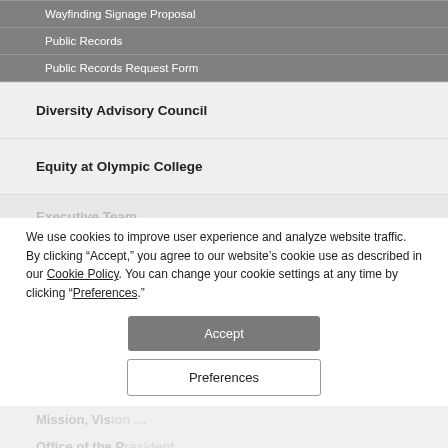Wayfinding Signage Proposal
Public Records
Public Records Request Form
Diversity Advisory Council
Equity at Olympic College
Executive Team
We use cookies to improve user experience and analyze website traffic. By clicking “Accept,” you agree to our website’s cookie use as described in our Cookie Policy. You can change your cookie settings at any time by clicking “Preferences.”
Mission, Vision...
Office of the P...